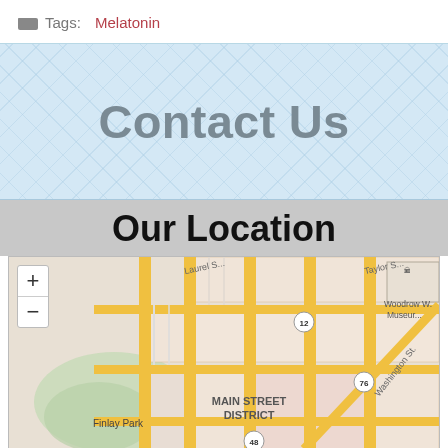Tags: Melatonin
Contact Us
Our Location
[Figure (map): Street map showing location near Finlay Park, Main Street District, Columbia SC area with zoom controls, street labels including Laurel St, Taylor St, Washington St, and route markers 12, 76, 48. Woodrow Wilson Museum visible in upper right.]